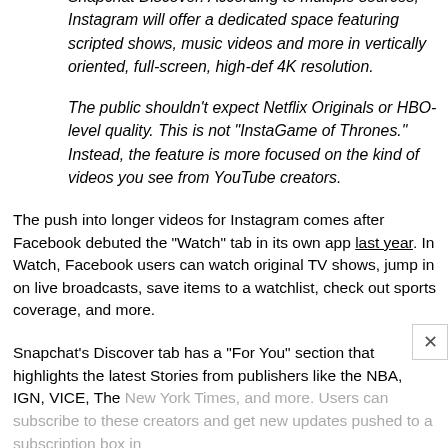form video — a YouTube competitor and its take on Snapchat Discover. According to multiple sources, Instagram will offer a dedicated space featuring scripted shows, music videos and more in vertically oriented, full-screen, high-def 4K resolution.
The public shouldn't expect Netflix Originals or HBO-level quality. This is not "InstaGame of Thrones." Instead, the feature is more focused on the kind of videos you see from YouTube creators.
The push into longer videos for Instagram comes after Facebook debuted the "Watch" tab in its own app last year. In Watch, Facebook users can watch original TV shows, jump in on live broadcasts, save items to a watchlist, check out sports coverage, and more.
Snapchat's Discover tab has a "For You" section that highlights the latest Stories from publishers like the NBA, IGN, VICE, The New York Times, and more. Users can subscribe to these creators and get new updates pushed to a subscription box in